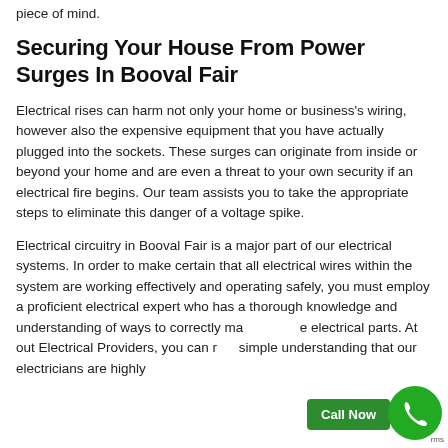piece of mind.
Securing Your House From Power Surges In Booval Fair
Electrical rises can harm not only your home or business's wiring, however also the expensive equipment that you have actually plugged into the sockets. These surges can originate from inside or beyond your home and are even a threat to your own security if an electrical fire begins. Our team assists you to take the appropriate steps to eliminate this danger of a voltage spike.
Electrical circuitry in Booval Fair is a major part of our electrical systems. In order to make certain that all electrical wires within the system are working effectively and operating safely, you must employ a proficient electrical expert who has a thorough knowledge and understanding of ways to correctly manage the electrical parts. At out Electrical Providers, you can rest simple understanding that our electricians are highly